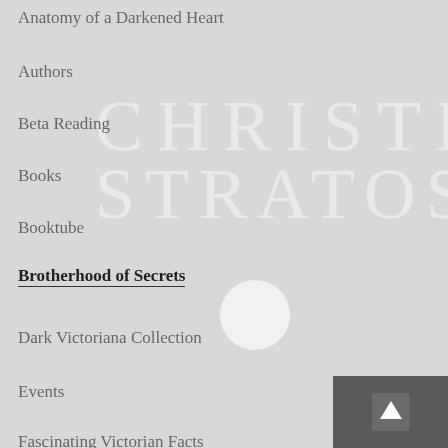Anatomy of a Darkened Heart
Authors
Beta Reading
Books
Booktube
Brotherhood of Secrets
[Figure (other): Large watermark text reading CHRISTIE STRATOS with a white circle accent, displayed in light semi-transparent serif letters over a grey background]
Dark Victoriana Collection
Events
Fascinating Victorian Facts
Grimoire Society of Dark Acts
How To
Inspiration
Kindle Vella